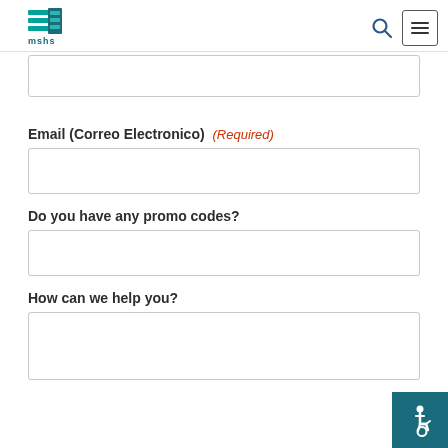[Figure (logo): MSHS logo with teal/green stripes and text 'mshs' below]
[partial input field at top]
Email (Correo Electronico) (Required)
[email input field]
Do you have any promo codes?
[promo code input field]
How can we help you?
[help textarea field]
[Figure (illustration): Accessibility wheelchair icon on teal background in bottom-right corner]